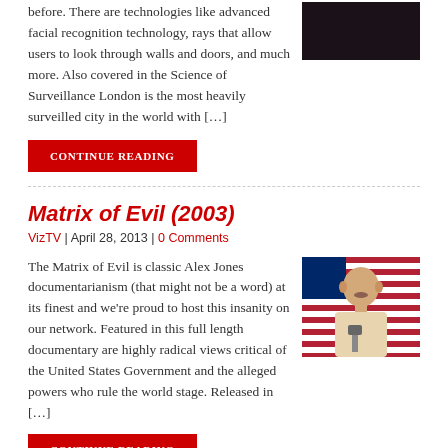before. There are technologies like advanced facial recognition technology, rays that allow users to look through walls and doors, and much more. Also covered in the Science of Surveillance London is the most heavily surveilled city in the world with […]
[Figure (photo): Dark thumbnail image in top right corner]
CONTINUE READING
Matrix of Evil (2003)
VizTV | April 28, 2013 | 0 Comments
The Matrix of Evil is classic Alex Jones documentarianism (that might not be a word) at its finest and we're proud to host this insanity on our network. Featured in this full length documentary are highly radical views critical of the United States Government and the alleged powers who rule the world stage. Released in […]
[Figure (photo): Thumbnail of a man speaking in front of an American flag]
CONTINUE READING